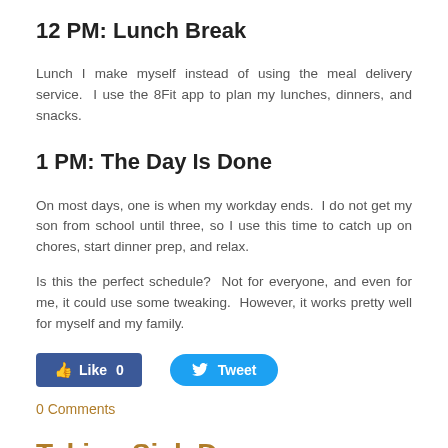12 PM: Lunch Break
Lunch I make myself instead of using the meal delivery service.  I use the 8Fit app to plan my lunches, dinners, and snacks.
1 PM: The Day Is Done
On most days, one is when my workday ends.  I do not get my son from school until three, so I use this time to catch up on chores, start dinner prep, and relax.
Is this the perfect schedule?  Not for everyone, and even for me, it could use some tweaking.  However, it works pretty well for myself and my family.
[Figure (other): Social sharing buttons: Facebook Like (0) and Twitter Tweet]
0 Comments
Taking Sick Days as a Freelancer